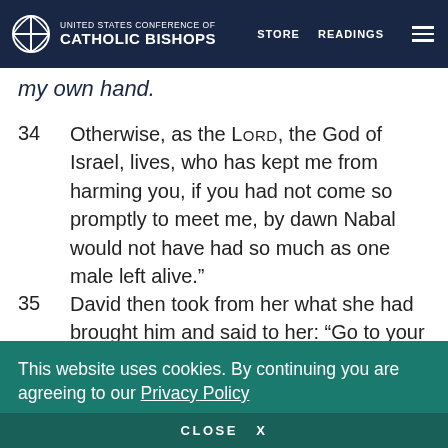UNITED STATES CONFERENCE OF CATHOLIC BISHOPS | STORE | READINGS
my own hand.
34  Otherwise, as the LORD, the God of Israel, lives, who has kept me from harming you, if you had not come so promptly to meet me, by dawn Nabal would not have had so much as one male left alive.”
35  David then took from her what she had brought him and said to her: “Go to your home in peace! See, I have listened to your appeal and have granted your request.”
This website uses cookies. By continuing you are agreeing to our Privacy Policy
CLOSE  X